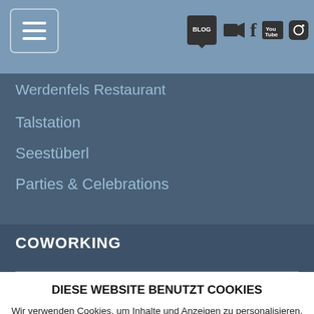Navigation bar with hamburger menu and social icons
Werdenfels Restaurant
Talstation
Seestüberl
Parties & Celebrations
COWORKING
DIESE WEBSITE BENUTZT COOKIES
Wir verwenden Cookies, um Inhalte und Anzeigen zu personalisieren, Funktionen für soziale Medien anbieten zu können und die Zugriffe auf unsere Website zu analysieren. Außerdem geben wir Informationen zu Ihrer Verwendung unserer Website an unsere Partner für soziale Medien, Werbung und Analysen weiter. Unsere Partner führen diese Informationen möglicherweise mit weiteren Daten zusammen, die Sie ihnen bereitgestellt haben oder die sie im Rahmen Ihrer Nutzung der Dienste gesammelt haben. Weitere Informationen zu Cookies erhalten Sie in unseren Datenschutzhinweisen.
Ok, verstanden
Nicht zustimmen
mehr